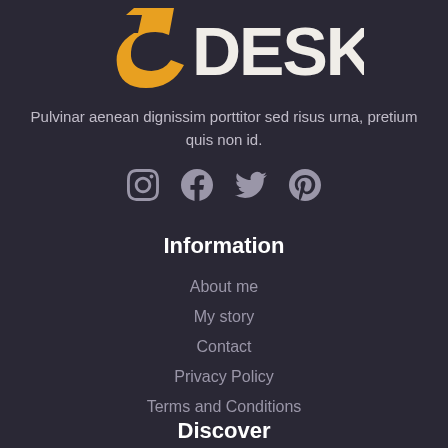[Figure (logo): 5Desk logo with orange '5' and white 'DESK' text in bold handwritten style]
Pulvinar aenean dignissim porttitor sed risus urna, pretium quis non id.
[Figure (infographic): Social media icons row: Instagram, Facebook, Twitter, Pinterest]
Information
About me
My story
Contact
Privacy Policy
Terms and Conditions
Discover